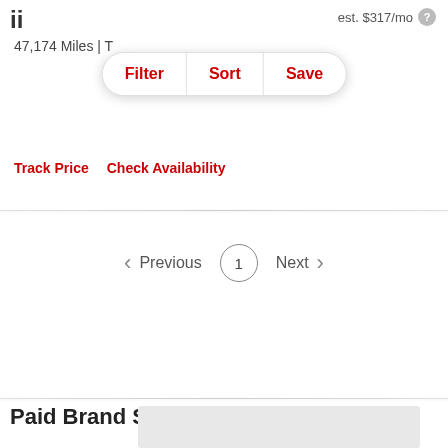ii
est. $317/mo
47,174 Miles | T
Filter  Sort  Save
Track Price   Check Availability
Previous  1  Next
Paid Brand Survey Ratings &